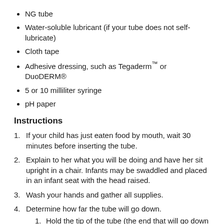NG tube
Water-soluble lubricant (if your tube does not self-lubricate)
Cloth tape
Adhesive dressing, such as Tegaderm™ or DuoDERM®
5 or 10 milliliter syringe
pH paper
Instructions
If your child has just eaten food by mouth, wait 30 minutes before inserting the tube.
Explain to her what you will be doing and have her sit upright in a chair. Infants may be swaddled and placed in an infant seat with the head raised.
Wash your hands and gather all supplies.
Determine how far the tube will go down. 1. Hold the tip of the tube (the end that will go down the nose) at the end of the nose with one